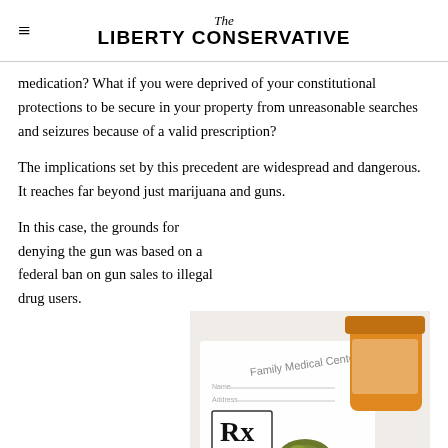The Liberty Conservative
medication? What if you were deprived of your constitutional protections to be secure in your property from unreasonable searches and seizures because of a valid prescription?
The implications set by this precedent are widespread and dangerous. It reaches far beyond just marijuana and guns.
In this case, the grounds for denying the gun was based on a federal ban on gun sales to illegal drug users.
[Figure (photo): A prescription pad from Family Medical Center with an Rx symbol, alongside an orange prescription pill bottle spilled open with marijuana buds on a white surface.]
Marijuana, though legal in a number of states for medicinal use, is still